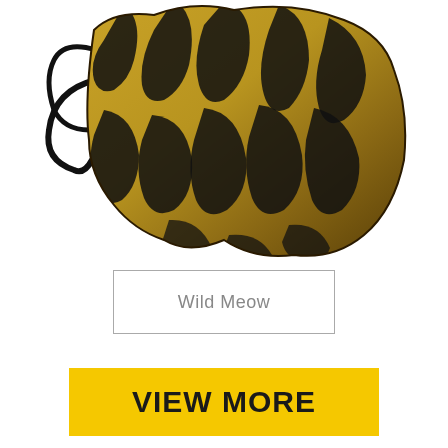[Figure (photo): A face mask with gold and black tiger/zebra stripe pattern, with black elastic ear loops, viewed from above at an angle on a white background.]
Wild Meow
VIEW MORE